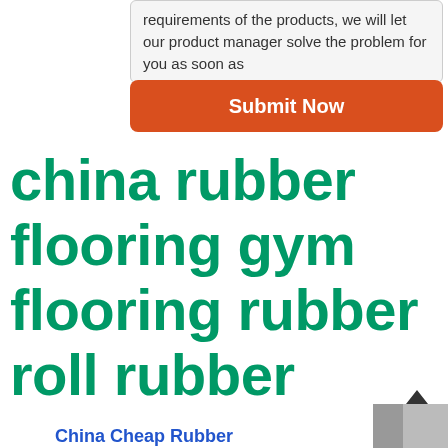requirements of the products, we will let our product manager solve the problem for you as soon as
[Figure (other): Orange 'Submit Now' button]
china rubber flooring gym flooring rubber roll rubber
[Figure (other): Upload/share icon (arrow pointing up from a tray)]
China Cheap Rubber